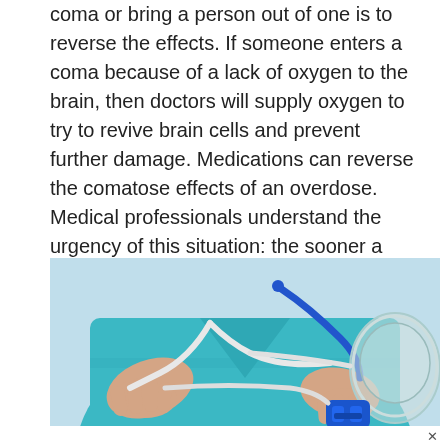coma or bring a person out of one is to reverse the effects. If someone enters a coma because of a lack of oxygen to the brain, then doctors will supply oxygen to try to revive brain cells and prevent further damage. Medications can reverse the comatose effects of an overdose. Medical professionals understand the urgency of this situation: the sooner a person receives help, and the sooner the brain can return to normal function, the better the chances of a good recovery.
[Figure (photo): A medical professional wearing teal/turquoise scrubs with a stethoscope, holding an oxygen mask and tubing with a blue valve or connector.]